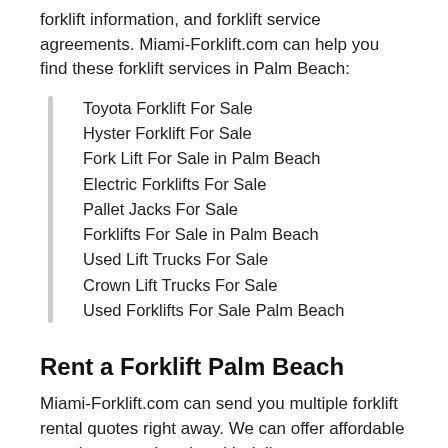forklift information, and forklift service agreements. Miami-Forklift.com can help you find these forklift services in Palm Beach:
Toyota Forklift For Sale
Hyster Forklift For Sale
Fork Lift For Sale in Palm Beach
Electric Forklifts For Sale
Pallet Jacks For Sale
Forklifts For Sale in Palm Beach
Used Lift Trucks For Sale
Crown Lift Trucks For Sale
Used Forklifts For Sale Palm Beach
Rent a Forklift Palm Beach
Miami-Forklift.com can send you multiple forklift rental quotes right away. We can offer affordable rental rates and assist with delivery.